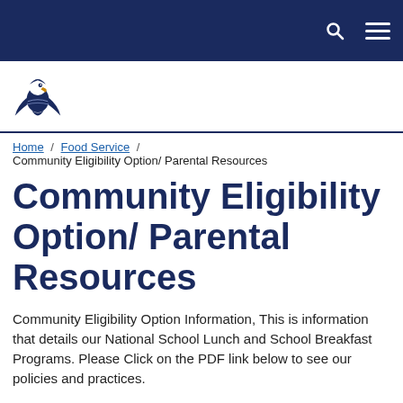[Figure (logo): Eagle mascot logo in dark navy blue and gold]
Home / Food Service / Community Eligibility Option/ Parental Resources
Community Eligibility Option/ Parental Resources
Community Eligibility Option Information, This is information that details our National School Lunch and School Breakfast Programs. Please Click on the PDF link below to see our policies and practices.